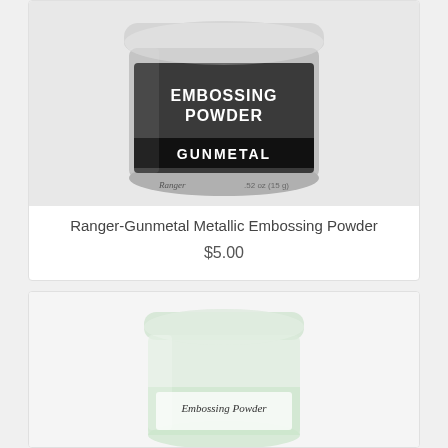[Figure (photo): Jar of Ranger Gunmetal Metallic Embossing Powder with dark grey label showing 'EMBOSSING POWDER GUNMETAL' text, Ranger logo, .52oz (15g)]
Ranger-Gunmetal Metallic Embossing Powder
$5.00
[Figure (photo): Clear jar of Embossing Powder with white/light green powder visible, label reads 'Embossing Powder' in cursive script]